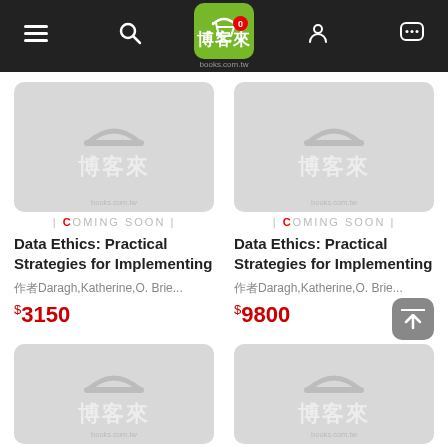[Figure (screenshot): Mobile website header/navbar for 博客來 (books.com.tw) with hamburger menu, search icon, logo, cart (0 items), profile, and chat icons on dark background]
[Figure (photo): Book placeholder image with 博客來 logo watermark and COMING SOON label]
Data Ethics: Practical Strategies for Implementing
作者Daragh,Katherine,O. Brie...
$3150
[Figure (photo): Book placeholder image with 博客來 logo watermark and COMING SOON label]
Data Ethics: Practical Strategies for Implementing
作者Daragh,Katherine,O. Brie...
$9800
[Figure (photo): Book placeholder image with 博客來 logo watermark (bottom of page)]
[Figure (photo): Book placeholder image with 博客來 logo watermark (bottom of page)]